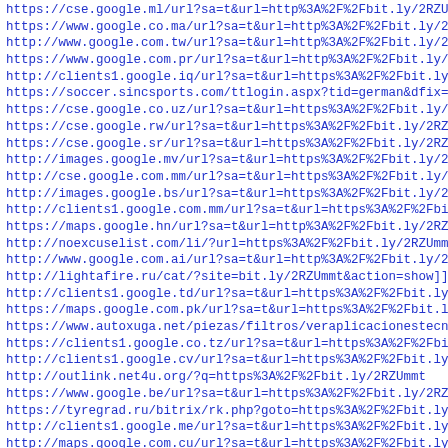https://cse.google.ml/url?sa=t&url=http%3A%2F%2Fbit.ly/2RZU
https://www.google.co.ma/url?sa=t&url=http%3A%2F%2Fbit.ly/2
http://www.google.com.tw/url?sa=t&url=http%3A%2F%2Fbit.ly/2
https://www.google.com.pr/url?sa=t&url=http%3A%2F%2Fbit.ly/
http://clients1.google.iq/url?sa=t&url=https%3A%2F%2Fbit.ly
https://soccer.sincsports.com/ttlogin.aspx?tid=german&dfix=
https://cse.google.co.uz/url?sa=t&url=https%3A%2F%2Fbit.ly/
https://cse.google.rw/url?sa=t&url=https%3A%2F%2Fbit.ly/2RZ
https://cse.google.sr/url?sa=t&url=https%3A%2F%2Fbit.ly/2RZ
http://images.google.mv/url?sa=t&url=https%3A%2F%2Fbit.ly/2
http://cse.google.com.mm/url?sa=t&url=https%3A%2F%2Fbit.ly/
http://images.google.bs/url?sa=t&url=https%3A%2F%2Fbit.ly/2
http://clients1.google.com.mm/url?sa=t&url=https%3A%2F%2Fbi
https://maps.google.hn/url?sa=t&url=http%3A%2F%2Fbit.ly/2RZ
http://noexcuselist.com/li/?url=https%3A%2F%2Fbit.ly/2RZUmm
http://www.google.com.ai/url?sa=t&url=http%3A%2F%2Fbit.ly/2
http://lightafire.ru/cat/?site=bit.ly/2RZUmmt&action=show]]
http://clients1.google.td/url?sa=t&url=https%3A%2F%2Fbit.ly
https://maps.google.com.pk/url?sa=t&url=https%3A%2F%2Fbit.l
https://www.autoxuga.net/piezas/filtros/veraplicacionestecn
https://clients1.google.co.tz/url?sa=t&url=https%3A%2F%2Fbi
http://clients1.google.cv/url?sa=t&url=https%3A%2F%2Fbit.ly
http://outlink.net4u.org/?q=https%3A%2F%2Fbit.ly/2RZUmmt
https://www.google.be/url?sa=t&url=https%3A%2F%2Fbit.ly/2RZ
https://tyregrad.ru/bitrix/rk.php?goto=https%3A%2F%2Fbit.ly
http://clients1.google.me/url?sa=t&url=https%3A%2F%2Fbit.ly
http://maps.google.com.cu/url?sa=t&url=https%3A%2F%2Fbit.ly
http://clients1.google.cn/url?sa=t&url=https%3A%2F%2Fbit.ly
https://www.google.ac/url?sa=t&url=https%3A%2F%2Fbit.ly/2RZ
http://www.google.co.in/url?sa=t&url=https%3A%2F%2Fbit.ly/